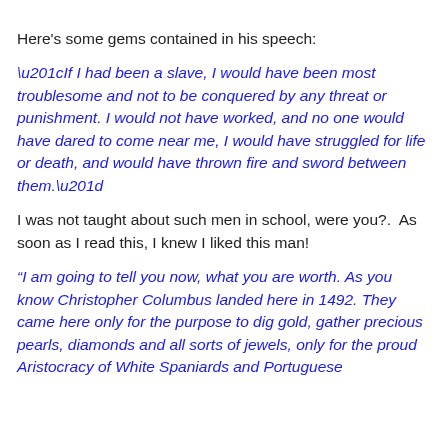Here's some gems contained in his speech:
“If I had been a slave, I would have been most troublesome and not to be conquered by any threat or punishment. I would not have worked, and no one would have dared to come near me, I would have struggled for life or death, and would have thrown fire and sword between them.”
I was not taught about such men in school, were you?.  As soon as I read this, I knew I liked this man!
“I am going to tell you now, what you are worth. As you know Christopher Columbus landed here in 1492. They came here only for the purpose to dig gold, gather precious pearls, diamonds and all sorts of jewels, only for the proud Aristocracy of White Spaniards and Portuguese